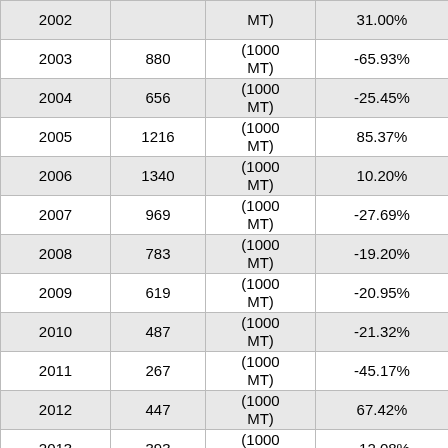| Year | Value | Unit | Change |
| --- | --- | --- | --- |
| 2002 | ... | (1000 MT) | ... |
| 2003 | 880 | (1000 MT) | -65.93% |
| 2004 | 656 | (1000 MT) | -25.45% |
| 2005 | 1216 | (1000 MT) | 85.37% |
| 2006 | 1340 | (1000 MT) | 10.20% |
| 2007 | 969 | (1000 MT) | -27.69% |
| 2008 | 783 | (1000 MT) | -19.20% |
| 2009 | 619 | (1000 MT) | -20.95% |
| 2010 | 487 | (1000 MT) | -21.32% |
| 2011 | 267 | (1000 MT) | -45.17% |
| 2012 | 447 | (1000 MT) | 67.42% |
| 2013 | 393 | (1000 MT) | -12.08% |